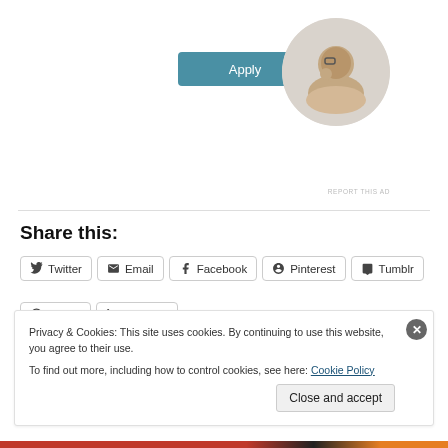[Figure (photo): Person thinking, sitting at desk, looking upward, in circular crop]
Apply
REPORT THIS AD
Share this:
Twitter
Email
Facebook
Pinterest
Tumblr
Reddit
LinkedIn
Loading...
Privacy & Cookies: This site uses cookies. By continuing to use this website, you agree to their use.
To find out more, including how to control cookies, see here: Cookie Policy
Close and accept